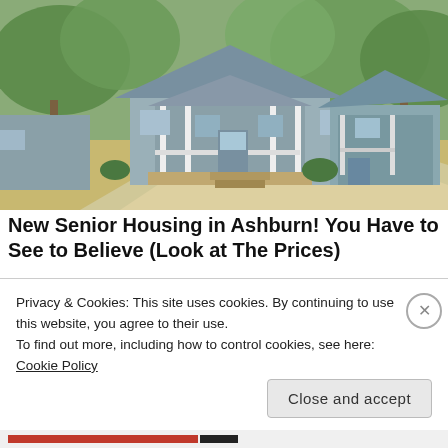[Figure (photo): Exterior photo of small light-blue cottage-style senior housing homes with white porches and railings, surrounded by trees, with a concrete driveway in the foreground.]
New Senior Housing in Ashburn! You Have to See to Believe (Look at The Prices)
Privacy & Cookies: This site uses cookies. By continuing to use this website, you agree to their use.
To find out more, including how to control cookies, see here:
Cookie Policy
Close and accept